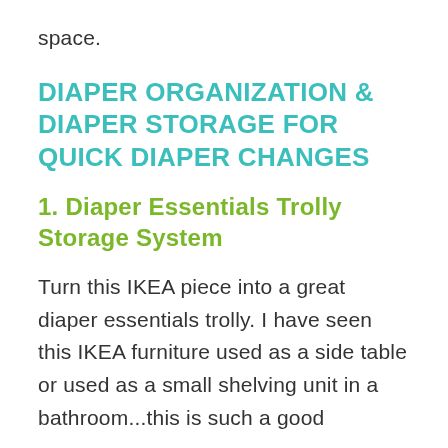space.
DIAPER ORGANIZATION & DIAPER STORAGE FOR QUICK DIAPER CHANGES
1. Diaper Essentials Trolly Storage System
Turn this IKEA piece into a great diaper essentials trolly. I have seen this IKEA furniture used as a side table or used as a small shelving unit in a bathroom...this is such a good